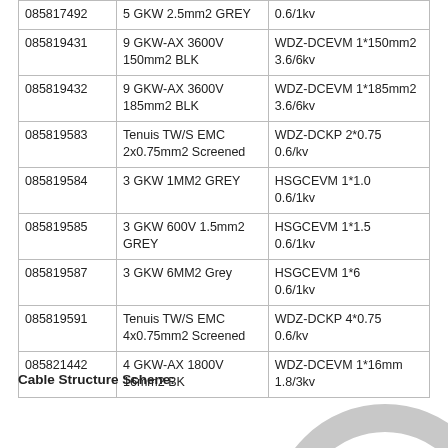| 085817492 | 5 GKW 2.5mm2 GREY | 0.6/1kv |
| 085819431 | 9 GKW-AX 3600V 150mm2 BLK | WDZ-DCEVM 1*150mm2
3.6/6kv |
| 085819432 | 9 GKW-AX 3600V 185mm2 BLK | WDZ-DCEVM 1*185mm2
3.6/6kv |
| 085819583 | Tenuis TW/S EMC
2x0.75mm2 Screened | WDZ-DCKP 2*0.75
0.6/kv |
| 085819584 | 3 GKW 1MM2 GREY | HSGCEVM 1*1.0
0.6/1kv |
| 085819585 | 3 GKW 600V 1.5mm2 GREY | HSGCEVM 1*1.5
0.6/1kv |
| 085819587 | 3 GKW 6MM2 Grey | HSGCEVM 1*6
0.6/1kv |
| 085819591 | Tenuis TW/S EMC
4x0.75mm2 Screened | WDZ-DCKP 4*0.75
0.6/kv |
| 085821442 | 4 GKW-AX 1800V 16mm2 BK | WDZ-DCEVM 1*16mm
1.8/3kv |
Cable Structure Schene:
[Figure (illustration): Cable cross-section diagram showing cable structure with grey outer ring and orange/gold inner conductor pattern, partially visible at bottom right of page.]